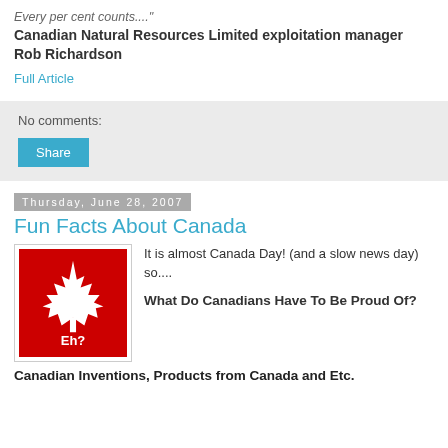Every per cent counts...."
Canadian Natural Resources Limited exploitation manager Rob Richardson
Full Article
No comments:
Share
Thursday, June 28, 2007
Fun Facts About Canada
[Figure (illustration): Red square image with white maple leaf and text 'Eh?' at the bottom — a Canadian flag-themed graphic]
It is almost Canada Day! (and a slow news day) so....
What Do Canadians Have To Be Proud Of?
Canadian Inventions, Products from Canada and Etc.